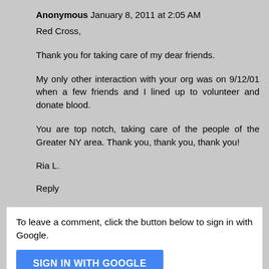Anonymous  January 8, 2011 at 2:05 AM
Red Cross,

Thank you for taking care of my dear friends.

My only other interaction with your org was on 9/12/01 when a few friends and I lined up to volunteer and donate blood.

You are top notch, taking care of the people of the Greater NY area. Thank you, thank you, thank you!

Ria L.
Reply
To leave a comment, click the button below to sign in with Google.
SIGN IN WITH GOOGLE
Note: Only a member of this blog may post a